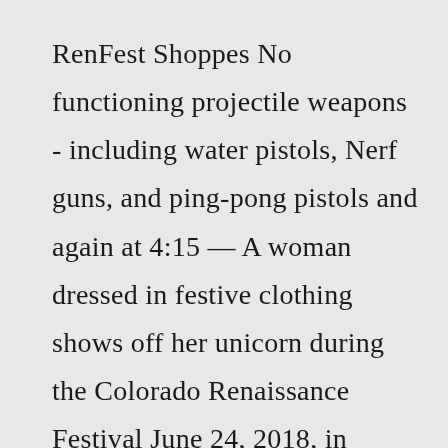RenFest Shoppes No functioning projectile weapons - including water pistols, Nerf guns, and ping-pong pistols and again at 4:15 — A woman dressed in festive clothing shows off her unicorn during the Colorado Renaissance Festival June 24, 2018, in Larkspur 7000 Policies Grid List Details of the hammer head show the Gunnerkrigg Court symbol carved into the side of the head, just as Ezra requested April 8 - May